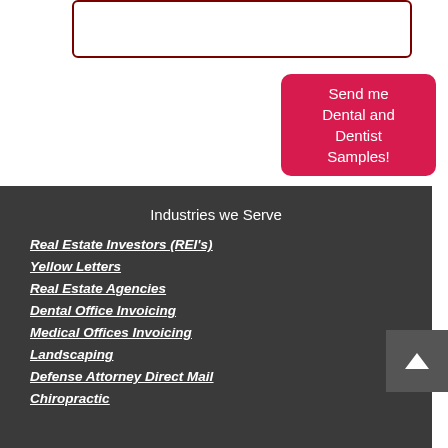[Figure (other): Empty input/text box with dark red border and rounded corners]
Send me Dental and Dentist Samples!
Industries we Serve
Real Estate Investors (REI's)
Yellow Letters
Real Estate Agencies
Dental Office Invoicing
Medical Offices Invoicing
Landscaping
Defense Attorney Direct Mail
Chiropractic